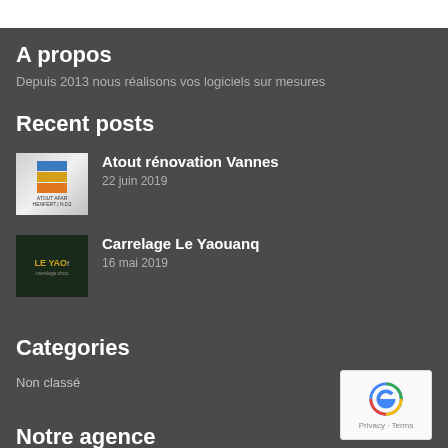A propos
Depuis 2013 nous réalisons vos logiciels sur mesures
Recent posts
Atout rénovation Vannes
22 juin 2019
Carrelage Le Yaouanq
16 mai 2019
Categories
Non classé
Notre agence
Du Lundi au Samedi
de 8h à 18h...
[Figure (logo): reCAPTCHA badge with Google logo, Privacy and Terms links]